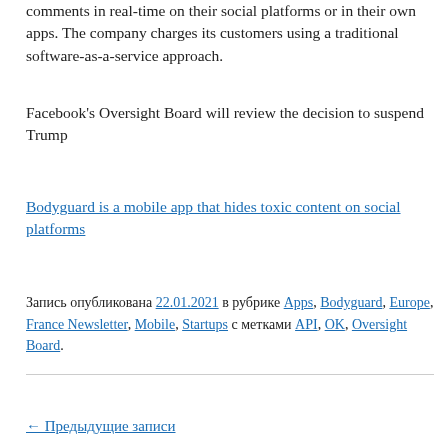companies can also a Bodyguard-powered API to moderate comments in real-time on their social platforms or in their own apps. The company charges its customers using a traditional software-as-a-service approach.
Facebook's Oversight Board will review the decision to suspend Trump
Bodyguard is a mobile app that hides toxic content on social platforms
Запись опубликована 22.01.2021 в рубрике Apps, Bodyguard, Europe, France Newsletter, Mobile, Startups с метками API, OK, Oversight Board.
← Предыдущие записи